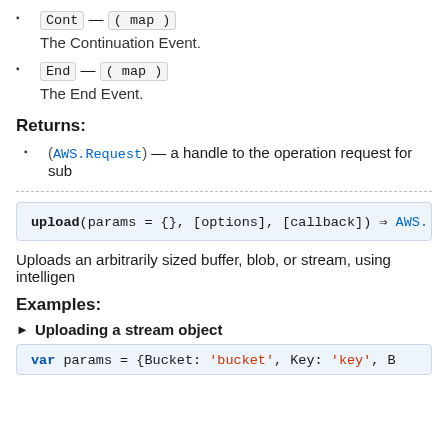Cont — (map)

The Continuation Event.
End — (map)

The End Event.
Returns:
(AWS.Request) — a handle to the operation request for sub...
upload(params = {}, [options], [callback]) => AWS.
Uploads an arbitrarily sized buffer, blob, or stream, using intelligen...
Examples:
Uploading a stream object
var params = {Bucket: 'bucket', Key: 'key', B...